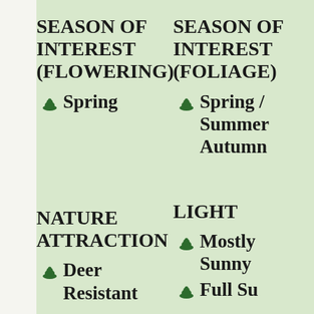SEASON OF INTEREST (FLOWERING)
Spring
SEASON OF INTEREST (FOLIAGE)
Spring / Summer / Autumn
NATURE ATTRACTION
Deer Resistant
LIGHT
Mostly Sunny
Full Sun